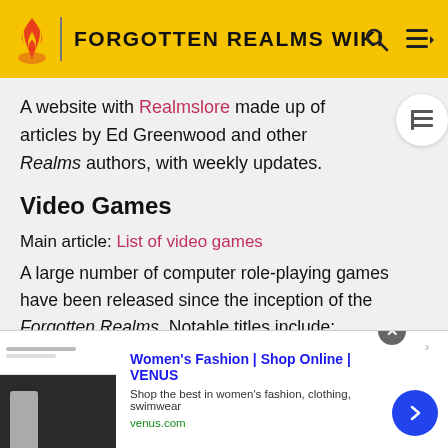FORGOTTEN REALMS WIKI
A website with Realmslore made up of articles by Ed Greenwood and other Realms authors, with weekly updates.
Video Games
Main article: List of video games
A large number of computer role-playing games have been released since the inception of the Forgotten Realms. Notable titles include:
Pool of Radiance (1988) – The first Forgotten Realms